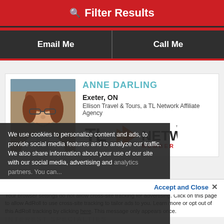Filter Results
Email Me | Call Me
ANNE DARLING
Exeter, ON
Ellison Travel & Tours, a TL Network Affiliate Agency
[Figure (logo): TL Network Member logo with orange arrow]
We use cookies to personalize content and ads, to provide social media features and to analyze our traffic. We also share information about your use of our site with our social media, advertising and analytics partners. You can...
Accept and Close ×
Your browser settings do not allow cross-site tracking for advertising. Click on this page to allow AdRoll to use cross-site tracking to tailor ads to you. Learn more or opt out of this AdRoll tracking by clicking here. This message only appears once.
INTEREST SPECIALTIES